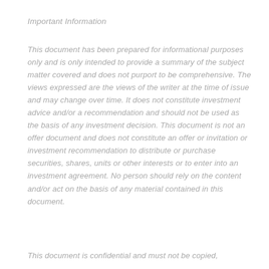Important Information
This document has been prepared for informational purposes only and is only intended to provide a summary of the subject matter covered and does not purport to be comprehensive. The views expressed are the views of the writer at the time of issue and may change over time. It does not constitute investment advice and/or a recommendation and should not be used as the basis of any investment decision. This document is not an offer document and does not constitute an offer or invitation or investment recommendation to distribute or purchase securities, shares, units or other interests or to enter into an investment agreement. No person should rely on the content and/or act on the basis of any material contained in this document.
This document is confidential and must not be copied,